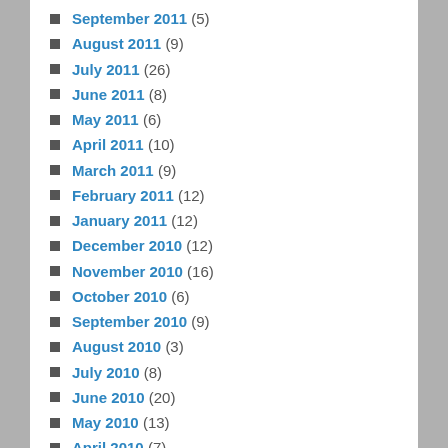September 2011 (5)
August 2011 (9)
July 2011 (26)
June 2011 (8)
May 2011 (6)
April 2011 (10)
March 2011 (9)
February 2011 (12)
January 2011 (12)
December 2010 (12)
November 2010 (16)
October 2010 (6)
September 2010 (9)
August 2010 (3)
July 2010 (8)
June 2010 (20)
May 2010 (13)
April 2010 (7)
March 2010 (8)
February 2010 (7)
January 2010 (5)